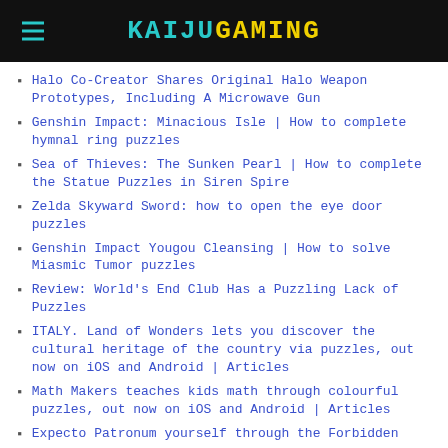KAIJUGAMING
Halo Co-Creator Shares Original Halo Weapon Prototypes, Including A Microwave Gun
Genshin Impact: Minacious Isle | How to complete hymnal ring puzzles
Sea of Thieves: The Sunken Pearl | How to complete the Statue Puzzles in Siren Spire
Zelda Skyward Sword: how to open the eye door puzzles
Genshin Impact Yougou Cleansing | How to solve Miasmic Tumor puzzles
Review: World's End Club Has a Puzzling Lack of Puzzles
ITALY. Land of Wonders lets you discover the cultural heritage of the country via puzzles, out now on iOS and Android | Articles
Math Makers teaches kids math through colourful puzzles, out now on iOS and Android | Articles
Expecto Patronum yourself through the Forbidden Forest in Harry Potter: Puzzles & Spells if you want, I Guess